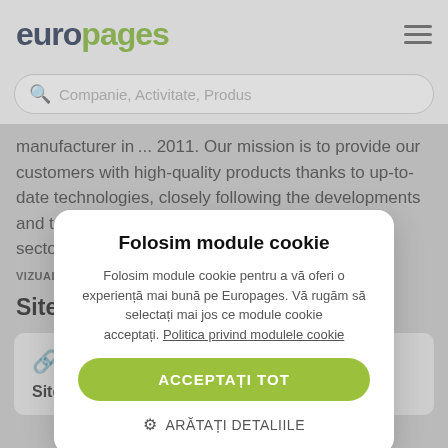europages
Companie, Activitate, Produs
manufacturer in... 2011. Our mission is to provide our customers with high-quality products thanks to up-to-date technologies, closely following the developments and technological innovations in the world paper sector. We wis...
VIZUALIZATI MAI MULT
[Figure (screenshot): Cookie consent modal overlay on Europages website. Title: 'Folosim module cookie'. Body: 'Folosim module cookie pentru a vă oferi o experiență mai bună pe Europages. Vă rugăm să selectați mai jos ce module cookie acceptați. Politica privind modulele cookie'. Button: 'ACCEPTAȚI TOT'. Link: 'ARĂTAȚI DETALIILE']
Site-ul Web
Site principal